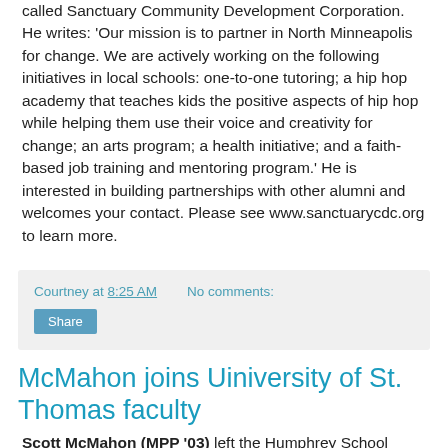called Sanctuary Community Development Corporation. He writes: 'Our mission is to partner in North Minneapolis for change. We are actively working on the following initiatives in local schools: one-to-one tutoring; a hip hop academy that teaches kids the positive aspects of hip hop while helping them use their voice and creativity for change; an arts program; a health initiative; and a faith-based job training and mentoring program.' He is interested in building partnerships with other alumni and welcomes your contact. Please see www.sanctuarycdc.org to learn more.
Courtney at 8:25 AM   No comments:
Share
McMahon joins Uiniversity of St. Thomas faculty
Scott McMahon (MPP '03) left the Humphrey School office